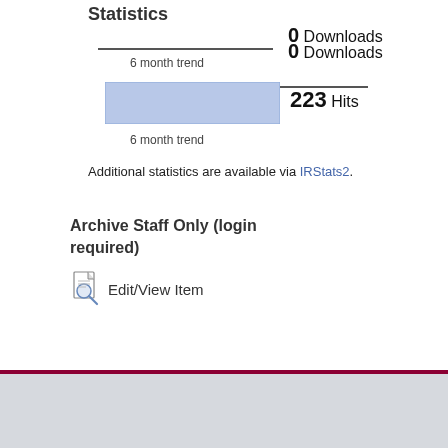Statistics
0 Downloads
6 month trend
[Figure (bar-chart): Hits 6 month trend]
223 Hits
6 month trend
Additional statistics are available via IRStats2.
Archive Staff Only (login required)
Edit/View Item
Statistics | Accessibility | Terms and Conditions | Contact Us
© Copyright Birkbeck, University of London